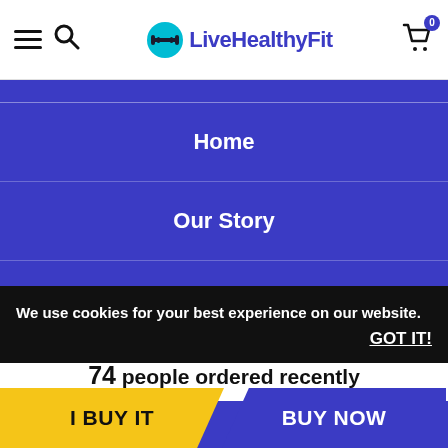LiveHealthyFit
Home
Our Story
Why LHF®
We use cookies for your best experience on our website.
GOT IT!
Reviews
74 people ordered recently
I BUY IT
BUY NOW